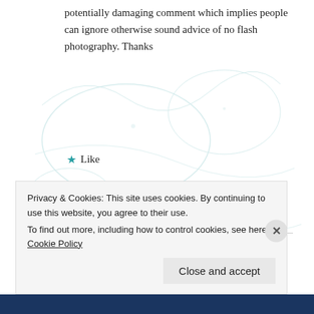potentially damaging comment which implies people can ignore otherwise sound advice of no flash photography. Thanks
Like
REPLY
[Figure (photo): Circular avatar photo of a scuba diver silhouetted against blue underwater light]
Maarten De Brauwer
JANUARY 29, 2019 AT 11:31 AM
Privacy & Cookies: This site uses cookies. By continuing to use this website, you agree to their use.
To find out more, including how to control cookies, see here: Cookie Policy
Close and accept